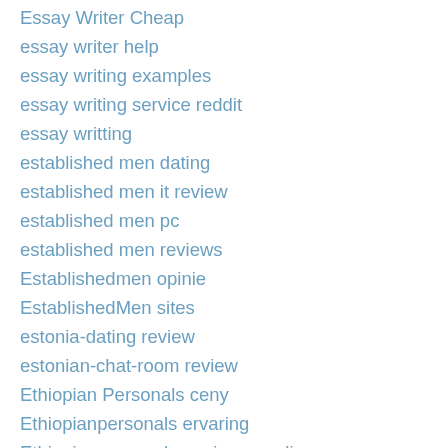Essay Writer Cheap
essay writer help
essay writing examples
essay writing service reddit
essay writting
established men dating
established men it review
established men pc
established men reviews
Establishedmen opinie
EstablishedMen sites
estonia-dating review
estonian-chat-room review
Ethiopian Personals ceny
Ethiopianpersonals ervaring
Ethiopianpersonals pagina para ligar
ethiopianpersonals pure
EthiopianPersonals visitors